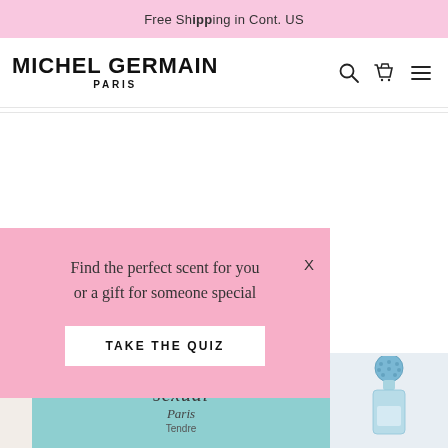Free Shipping in Cont. US
[Figure (logo): Michel Germain Paris logo with navigation icons (search, cart, menu)]
Find the perfect scent for you or a gift for someone special
TAKE THE QUIZ
[Figure (photo): sexual Paris Tendre perfume bottle and box in teal/blue color]